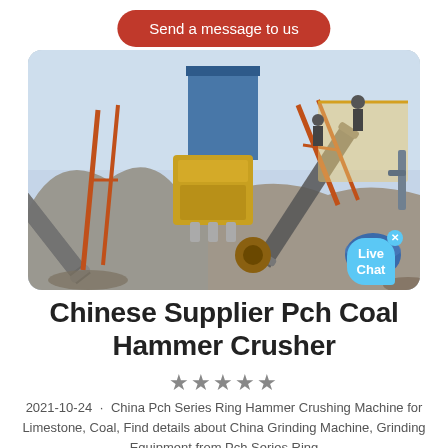Send a message to us
[Figure (photo): Industrial hammer crusher / ring hammer crushing machine installation at a mining or quarrying site. Multiple conveyor belts, yellow crushing machine center, workers on elevated platform, orange steel scaffolding, blue sky background.]
Chinese Supplier Pch Coal Hammer Crusher
★★★★★
2021-10-24 · China Pch Series Ring Hammer Crushing Machine for Limestone, Coal, Find details about China Grinding Machine, Grinding Equipment from Pch Series Ring